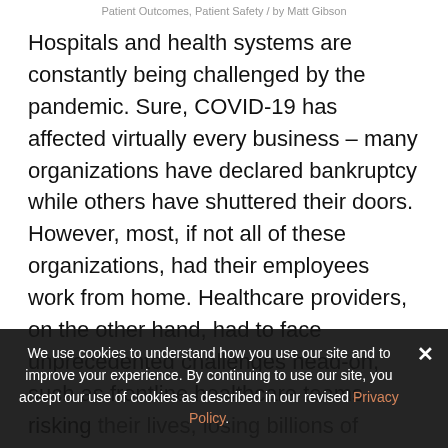Patient Outcomes, Patient Safety / by Matt Gibson
Hospitals and health systems are constantly being challenged by the pandemic. Sure, COVID-19 has affected virtually every business – many organizations have declared bankruptcy while others have shuttered their doors. However, most, if not all of these organizations, had their employees work from home. Healthcare providers, on the other hand, had to face unprecedented challenges head-on, such as frontline healthcare teams risking their lives, losing billions of dollars, patient verification issues, data breaches, and more
We use cookies to understand how you use our site and to improve your experience. By continuing to use our site, you accept our use of cookies as described in our revised Privacy Policy.